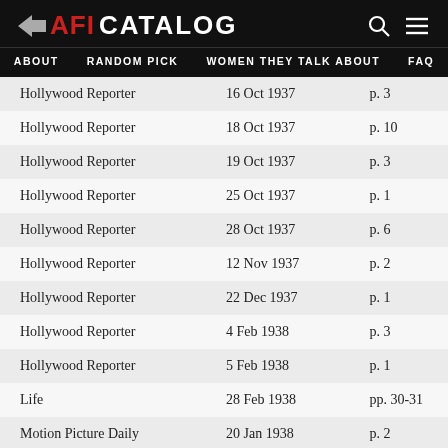AFI CATALOG | ABOUT | RANDOM PICK | WOMEN THEY TALK ABOUT | FAQ
| Hollywood Reporter | 16 Oct 1937 | p. 3 |
| Hollywood Reporter | 18 Oct 1937 | p. 10 |
| Hollywood Reporter | 19 Oct 1937 | p. 3 |
| Hollywood Reporter | 25 Oct 1937 | p. 1 |
| Hollywood Reporter | 28 Oct 1937 | p. 6 |
| Hollywood Reporter | 12 Nov 1937 | p. 2 |
| Hollywood Reporter | 22 Dec 1937 | p. 1 |
| Hollywood Reporter | 4 Feb 1938 | p. 3 |
| Hollywood Reporter | 5 Feb 1938 | p. 1 |
| Life | 28 Feb 1938 | pp. 30-31 |
| Motion Picture Daily | 20 Jan 1938 | p. 2 |
| Motion Picture Daily | 5 Feb 1938 | p. 2 |